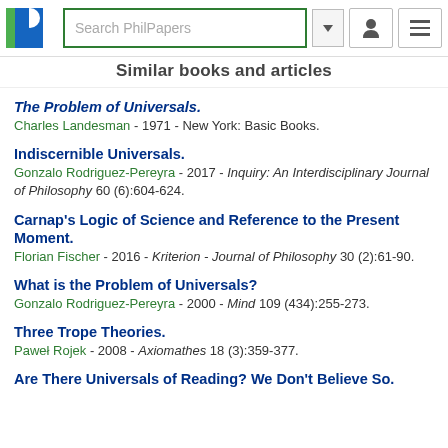Search PhilPapers
Similar books and articles
The Problem of Universals.
Charles Landesman - 1971 - New York: Basic Books.
Indiscernible Universals.
Gonzalo Rodriguez-Pereyra - 2017 - Inquiry: An Interdisciplinary Journal of Philosophy 60 (6):604-624.
Carnap's Logic of Science and Reference to the Present Moment.
Florian Fischer - 2016 - Kriterion - Journal of Philosophy 30 (2):61-90.
What is the Problem of Universals?
Gonzalo Rodriguez-Pereyra - 2000 - Mind 109 (434):255-273.
Three Trope Theories.
Paweł Rojek - 2008 - Axiomathes 18 (3):359-377.
Are There Universals of Reading? We Don't Believe So.